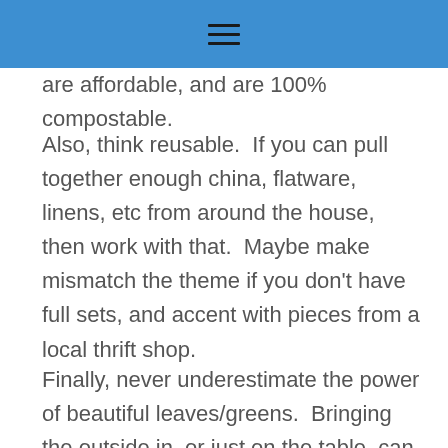≡
are affordable, and are 100% compostable.
Also, think reusable.  If you can pull together enough china, flatware, linens, etc from around the house, then work with that.  Maybe make mismatch the theme if you don't have full sets, and accent with pieces from a local thrift shop.
Finally, never underestimate the power of beautiful leaves/greens.  Bringing the outside in, or just on the table, can be super